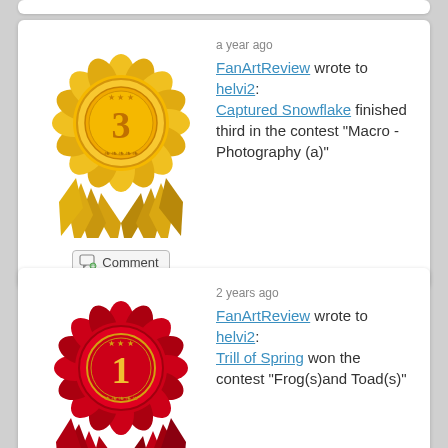[Figure (illustration): Gold 3rd place ribbon/rosette award badge]
a year ago
FanArtReview wrote to helvi2: Captured Snowflake finished third in the contest "Macro - Photography (a)"
[Figure (illustration): Red 1st place ribbon/rosette award badge]
2 years ago
FanArtReview wrote to helvi2: Trill of Spring won the contest "Frog(s)and Toad(s)"